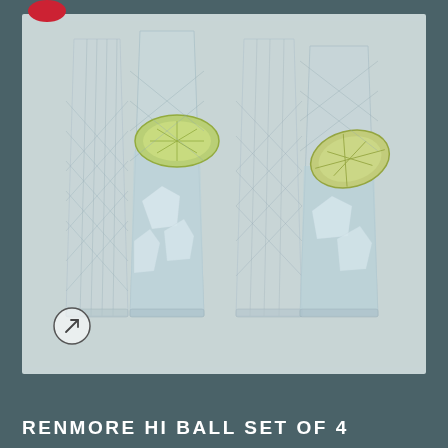[Figure (photo): Four crystal-cut highball glasses with ice and lime/lemon slices, set of 4, shown on a light grey-green background. Two glasses in foreground contain drinks with ice and citrus garnishes.]
RENMORE HI BALL SET OF 4